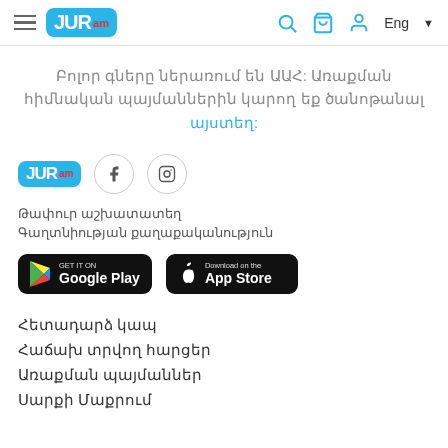JUR.am — Eng
Բոլոր գները ներառում են ԱԱՀ:Առաքման հիմնական պայմաններին կարող եք ծանոթանալ այստեղ:
[Figure (logo): JUR.am logo with Facebook and Instagram social icons]
Թափուր աշխատատեղ
Գաղտնիության քաղաքականություն
[Figure (other): Google Play and App Store download buttons]
Հետադարձ կապ
Հաճախ տրվող հարցեր
Առաքման պայմաններ
Սարքի Մաքրում